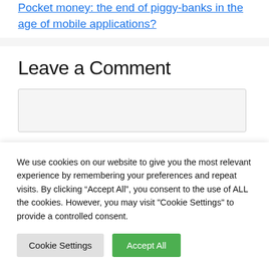Pocket money: the end of piggy-banks in the age of mobile applications?
Leave a Comment
We use cookies on our website to give you the most relevant experience by remembering your preferences and repeat visits. By clicking “Accept All”, you consent to the use of ALL the cookies. However, you may visit "Cookie Settings" to provide a controlled consent.